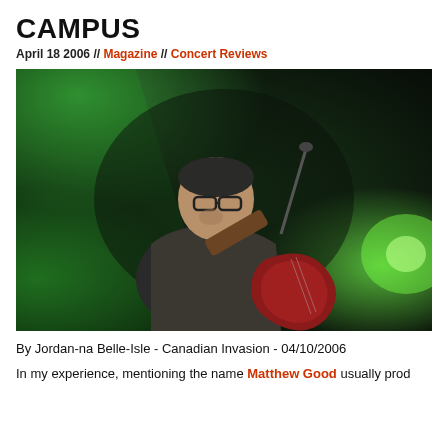CAMPUS
April 18 2006 // Magazine // Concert Reviews
[Figure (photo): Man with glasses playing an acoustic guitar on stage with green stage lighting in the background]
By Jordan-na Belle-Isle - Canadian Invasion - 04/10/2006
In my experience, mentioning the name Matthew Good usually prod